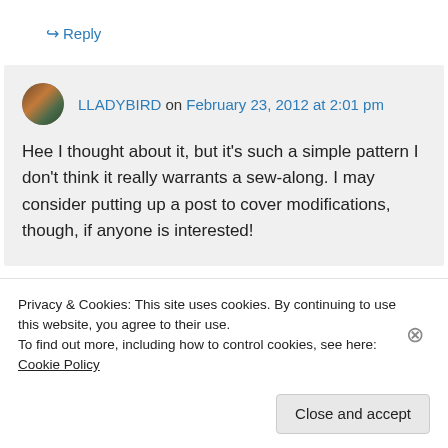↪ Reply
LLADYBIRD on February 23, 2012 at 2:01 pm
Hee I thought about it, but it's such a simple pattern I don't think it really warrants a sew-along. I may consider putting up a post to cover modifications, though, if anyone is interested!
Privacy & Cookies: This site uses cookies. By continuing to use this website, you agree to their use.
To find out more, including how to control cookies, see here: Cookie Policy
Close and accept